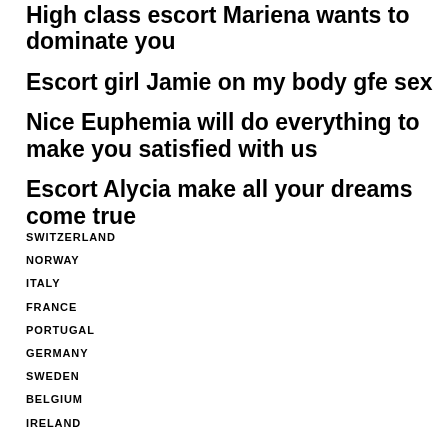High class escort Mariena wants to dominate you
Escort girl Jamie on my body gfe sex
Nice Euphemia will do everything to make you satisfied with us
Escort Alycia make all your dreams come true
SWITZERLAND
NORWAY
ITALY
FRANCE
PORTUGAL
GERMANY
SWEDEN
BELGIUM
IRELAND